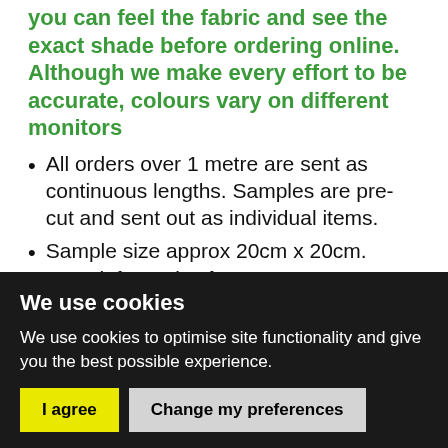you can feel the fabric and see the exact shade before ordering online.  Although we make every effort to be accurate, colours vary on different monitors
All orders over 1 metre are sent as continuous lengths.  Samples are pre-cut and sent out as individual items.
Sample size approx 20cm x 20cm.  More information here
We use cookies
We use cookies to optimise site functionality and give you the best possible experience.
I agree   Change my preferences